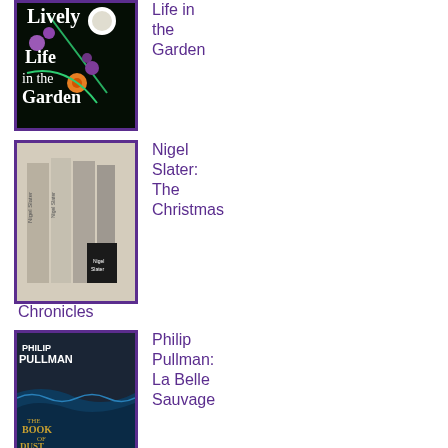[Figure (illustration): Book cover: Lively Life in the Garden, dark background with botanical floral illustrations]
Life in the Garden
[Figure (illustration): Book cover set: Nigel Slater The Christmas Chronicles, grey boxed set of books]
Nigel Slater: The Christmas Chronicles
Chronicles
[Figure (illustration): Book cover: Philip Pullman La Belle Sauvage (The Book of Dust), dark stormy ocean scene]
Philip Pullman: La Belle Sauvage